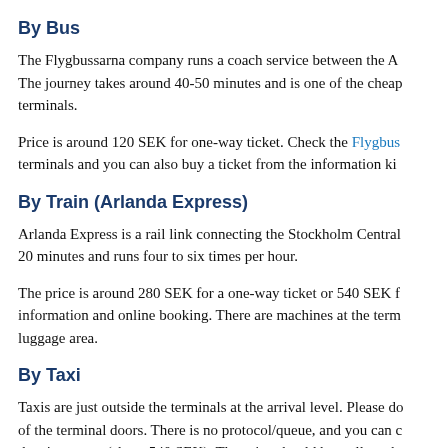By Bus
The Flygbussarna company runs a coach service between the A... The journey takes around 40-50 minutes and is one of the cheap... terminals.
Price is around 120 SEK for one-way ticket. Check the Flygbus... terminals and you can also buy a ticket from the information ki...
By Train (Arlanda Express)
Arlanda Express is a rail link connecting the Stockholm Central... 20 minutes and runs four to six times per hour.
The price is around 280 SEK for a one-way ticket or 540 SEK f... information and online booking. There are machines at the term... luggage area.
By Taxi
Taxis are just outside the terminals at the arrival level. Please do... of the terminal doors. There is no protocol/queue, and you can c... the city center (about 540 SEK). The price should be well mark... choice, these two companies could be picked: